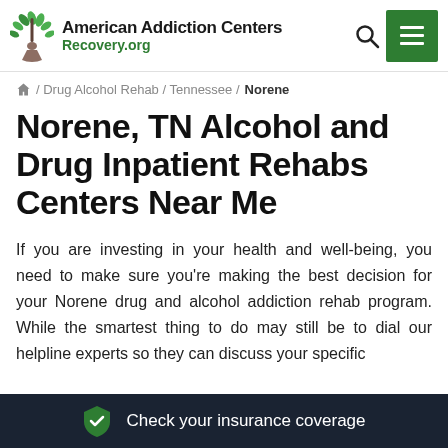American Addiction Centers Recovery.org
/ Drug Alcohol Rehab / Tennessee / Norene
Norene, TN Alcohol and Drug Inpatient Rehabs Centers Near Me
If you are investing in your health and well-being, you need to make sure you're making the best decision for your Norene drug and alcohol addiction rehab program. While the smartest thing to do may still be to dial our helpline experts so they can discuss your specific
Check your insurance coverage